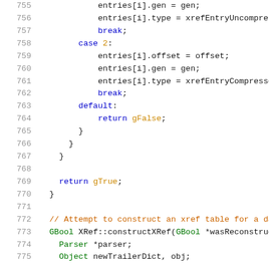Code listing lines 755-775 showing C++ source code for XRef parsing
755    entries[i].gen = gen;
756    entries[i].type = xrefEntryUncompressed
757    break;
758    case 2:
759      entries[i].offset = offset;
760      entries[i].gen = gen;
761      entries[i].type = xrefEntryCompressed;
762      break;
763    default:
764        return gFalse;
765      }
766    }
767  }
768  
769    return gTrue;
770  }
771  
772  // Attempt to construct an xref table for a dam
773  GBool XRef::constructXRef(GBool *wasReconstruct
774    Parser *parser;
775    Object newTrailerDict, obj;